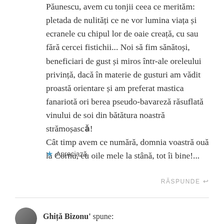Păunescu, avem cu tonjii ceea ce merităm: pletada de nulități ce ne vor lumina viața și ecranele cu chipul lor de oaie creață, cu sau fără cercei fistichii... Noi să fim sănătoși, beneficiari de gust și miros într-ale oreleului privință, dacă în materie de gusturi am vădit proastă orientare și am preferat mastica fanariotă ori berea pseudo-bavareză răsuflată vinului de soi din bătătura noastră strămoșascǎ!
Cât timp avem ce numără, domnia voastră ouă la Cornu, eu oile mele la stână, tot îi bine!...
Apreciază
RĂSPUNDE
Ghiță Bizonu' spune: